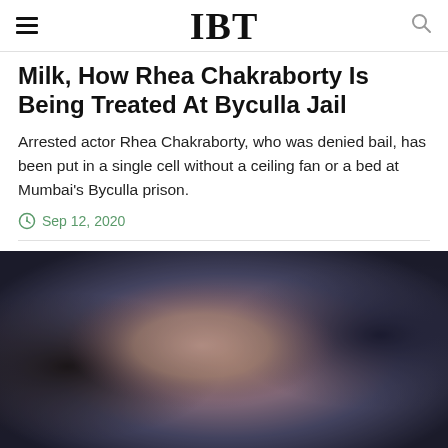IBT
Milk, How Rhea Chakraborty Is Being Treated At Byculla Jail
Arrested actor Rhea Chakraborty, who was denied bail, has been put in a single cell without a ceiling fan or a bed at Mumbai's Byculla prison.
Sep 12, 2020
[Figure (photo): Blurred/obscured photograph, dark tones with brownish-pink center, likely a portrait photo of a person]